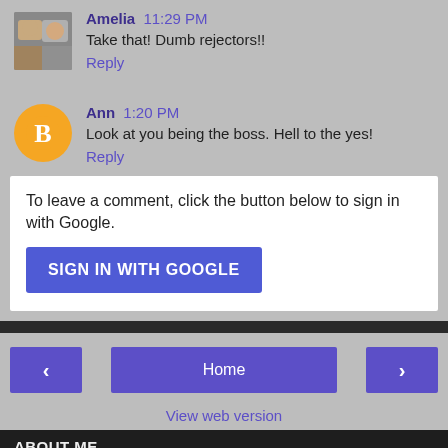Amelia  11:29 PM
Take that! Dumb rejectors!!
Reply
Ann  1:20 PM
Look at you being the boss. Hell to the yes!
Reply
To leave a comment, click the button below to sign in with Google.
SIGN IN WITH GOOGLE
Home
View web version
ABOUT ME